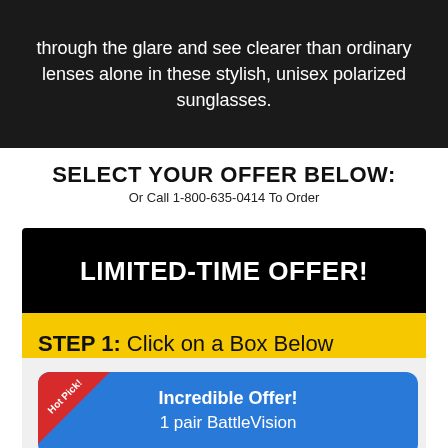through the glare and see clearer than ordinary lenses alone in these stylish, unisex polarized sunglasses.
SELECT YOUR OFFER BELOW:
Or Call 1-800-635-0414 To Order
LIMITED-TIME OFFER!
STEP 1: Click on a Box Below
Incredible Offer!
1 pair BattleVision